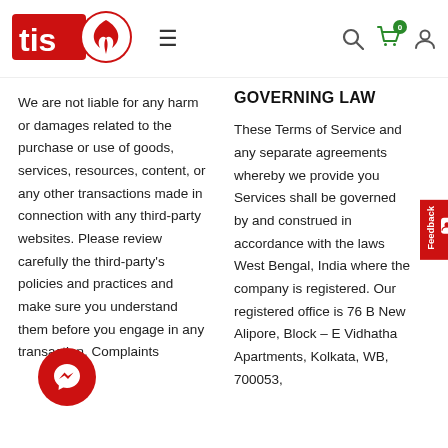[Figure (logo): TIS logo - red background with white 'tis' text and stylized flame/bird emblem in a circle]
We are not liable for any harm or damages related to the purchase or use of goods, services, resources, content, or any other transactions made in connection with any third-party websites. Please review carefully the third-party's policies and practices and make sure you understand them before you engage in any transaction. Complaints
GOVERNING LAW
These Terms of Service and any separate agreements whereby we provide you Services shall be governed by and construed in accordance with the laws West Bengal, India where the company is registered. Our registered office is 76 B New Alipore, Block – E Vidhatha Apartments, Kolkata, WB, 700053,